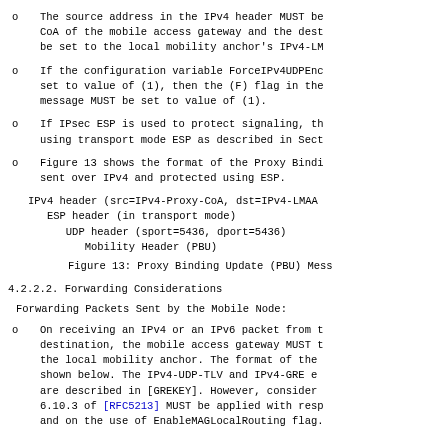The source address in the IPv4 header MUST be CoA of the mobile access gateway and the dest be set to the local mobility anchor's IPv4-LM
If the configuration variable ForceIPv4UDPEnc set to value of (1), then the (F) flag in the message MUST be set to value of (1).
If IPsec ESP is used to protect signaling, th using transport mode ESP as described in Sect
Figure 13 shows the format of the Proxy Bindi sent over IPv4 and protected using ESP.
IPv4 header (src=IPv4-Proxy-CoA, dst=IPv4-LMAA
   ESP header (in transport mode)
      UDP header (sport=5436, dport=5436)
         Mobility Header (PBU)
Figure 13: Proxy Binding Update (PBU) Mess
4.2.2.2.  Forwarding Considerations
Forwarding Packets Sent by the Mobile Node:
On receiving an IPv4 or an IPv6 packet from t destination, the mobile access gateway MUST t the local mobility anchor.  The format of the shown below.  The IPv4-UDP-TLV and IPv4-GRE e are described in [GREKEY].  However, consider 6.10.3 of [RFC5213] MUST be applied with resp and on the use of EnableMAGLocalRouting flag.